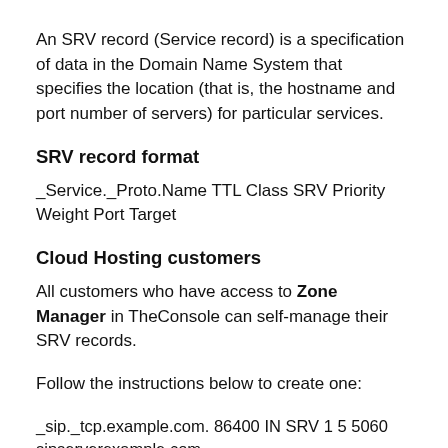An SRV record (Service record) is a specification of data in the Domain Name System that specifies the location (that is, the hostname and port number of servers) for particular services.
SRV record format
_Service._Proto.Name TTL Class SRV Priority Weight Port Target
Cloud Hosting customers
All customers who have access to Zone Manager in TheConsole can self-manage their SRV records.
Follow the instructions below to create one:
_sip._tcp.example.com. 86400 IN SRV 1 5 5060 sipserverexample.com